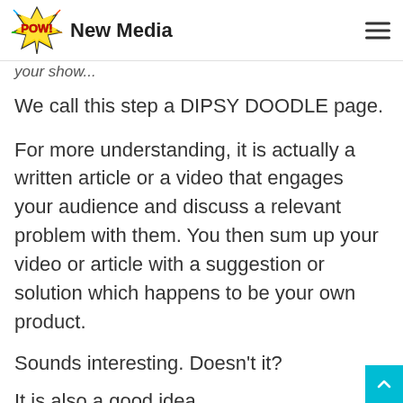POW! New Media
your show...
We call this step a DIPSY DOODLE page.
For more understanding, it is actually a written article or a video that engages your audience and discuss a relevant problem with them. You then sum up your video or article with a suggestion or solution which happens to be your own product.
Sounds interesting. Doesn't it?
It is also a good idea...